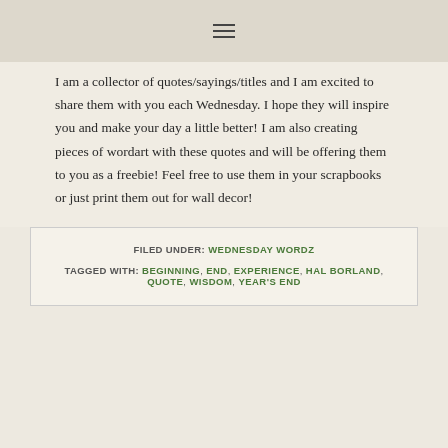≡
I am a collector of quotes/sayings/titles and I am excited to share them with you each Wednesday. I hope they will inspire you and make your day a little better! I am also creating pieces of wordart with these quotes and will be offering them to you as a freebie! Feel free to use them in your scrapbooks or just print them out for wall decor!
FILED UNDER: WEDNESDAY WORDZ
TAGGED WITH: BEGINNING, END, EXPERIENCE, HAL BORLAND, QUOTE, WISDOM, YEAR'S END